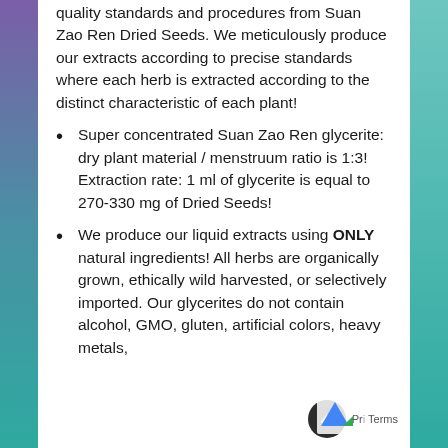quality standards and procedures from Suan Zao Ren Dried Seeds. We meticulously produce our extracts according to precise standards where each herb is extracted according to the distinct characteristic of each plant!
Super concentrated Suan Zao Ren glycerite: dry plant material / menstruum ratio is 1:3! Extraction rate: 1 ml of glycerite is equal to 270-330 mg of Dried Seeds!
We produce our liquid extracts using ONLY natural ingredients! All herbs are organically grown, ethically wild harvested, or selectively imported. Our glycerites do not contain alcohol, GMO, gluten, artificial colors, heavy metals,